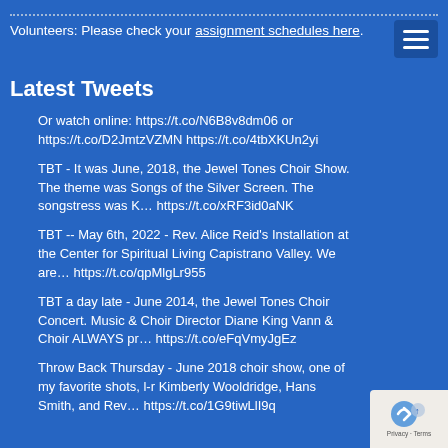Volunteers: Please check your assignment schedules here.
Latest Tweets
Or watch online: https://t.co/N6B8v8dm06 or https://t.co/D2JmtzVZMN https://t.co/4tbXKUn2yi
TBT - It was June, 2018, the Jewel Tones Choir Show. The theme was Songs of the Silver Screen. The songstress was K… https://t.co/xRF3id0aNK
TBT -- May 6th, 2022 - Rev. Alice Reid's Installation at the Center for Spiritual Living Capistrano Valley. We are… https://t.co/qpMlgLr955
TBT a day late - June 2014, the Jewel Tones Choir Concert. Music & Choir Director Diane King Vann & Choir ALWAYS pr… https://t.co/eFqVmyJgEz
Throw Back Thursday - June 2018 choir show, one of my favorite shots, l-r Kimberly Wooldridge, Hans Smith, and Rev… https://t.co/1G9tiwLlI9q